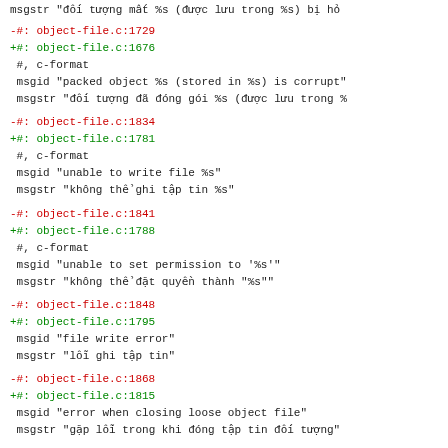msgstr "đối tượng mất %s (được lưu trong %s) bị hỏ
-#: object-file.c:1729
+#: object-file.c:1676
 #, c-format
 msgid "packed object %s (stored in %s) is corrupt"
 msgstr "đối tượng đã đóng gói %s (được lưu trong %
-#: object-file.c:1834
+#: object-file.c:1781
 #, c-format
 msgid "unable to write file %s"
 msgstr "không thể ghi tập tin %s"
-#: object-file.c:1841
+#: object-file.c:1788
 #, c-format
 msgid "unable to set permission to '%s'"
 msgstr "không thể đặt quyền thành "%s""
-#: object-file.c:1848
+#: object-file.c:1795
 msgid "file write error"
 msgstr "lỗi ghi tập tin"
-#: object-file.c:1868
+#: object-file.c:1815
 msgid "error when closing loose object file"
 msgstr "gặp lỗi trong khi đóng tập tin đối tượng"